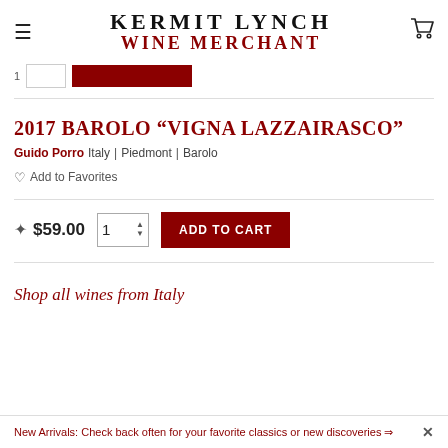KERMIT LYNCH WINE MERCHANT
2017 BAROLO “VIGNA LAZZAIRASCO”
Guido Porro  Italy | Piedmont | Barolo
Add to Favorites
$59.00  1  ADD TO CART
Shop all wines from Italy
New Arrivals: Check back often for your favorite classics or new discoveries ⇒